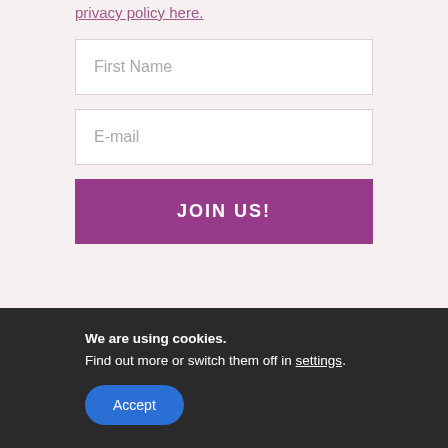privacy policy here.
First Name
E-mail
JOIN US!
We are using cookies.
Find out more or switch them off in settings.
Accept